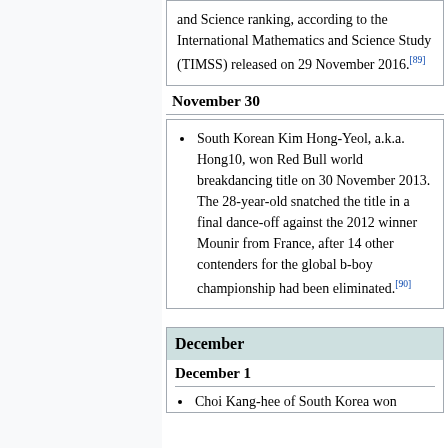and Science ranking, according to the International Mathematics and Science Study (TIMSS) released on 29 November 2016.[89]
November 30
South Korean Kim Hong-Yeol, a.k.a. Hong10, won Red Bull world breakdancing title on 30 November 2013. The 28-year-old snatched the title in a final dance-off against the 2012 winner Mounir from France, after 14 other contenders for the global b-boy championship had been eliminated.[90]
December
December 1
Choi Kang-hee of South Korea won